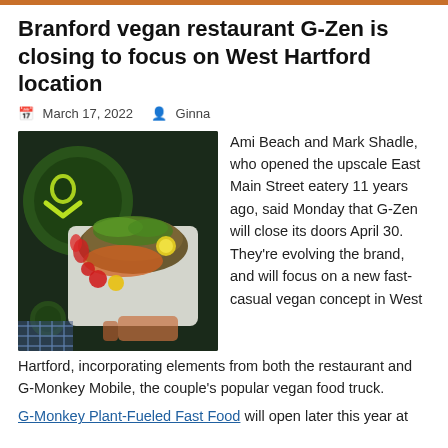Branford vegan restaurant G-Zen is closing to focus on West Hartford location
March 17, 2022   Ginna
[Figure (photo): Photo of a colorful vegan dish in a white takeout container held by a hand, with a green smiley face logo visible in the background.]
Ami Beach and Mark Shadle, who opened the upscale East Main Street eatery 11 years ago, said Monday that G-Zen will close its doors April 30. They're evolving the brand, and will focus on a new fast-casual vegan concept in West Hartford, incorporating elements from both the restaurant and G-Monkey Mobile, the couple's popular vegan food truck.
G-Monkey Plant-Fueled Fast Food will open later this year at